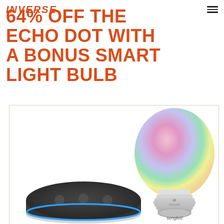INVERSE
64% OFF THE ECHO DOT WITH A BONUS SMART LIGHT BULB
[Figure (photo): Product photo showing an Amazon Echo Dot (3rd gen, charcoal) with blue ring light on left, and a Sengled multicolor smart LED light bulb on the right, against a white background within a light-bordered rectangle.]